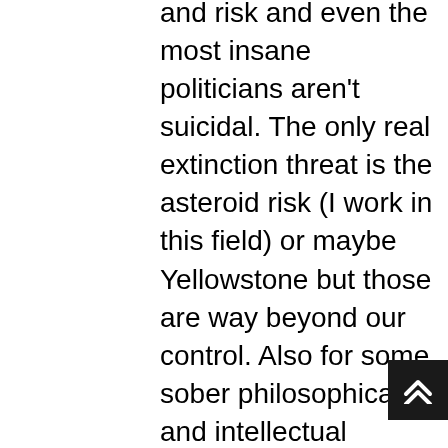and risk and even the most insane politicians aren't suicidal. The only real extinction threat is the asteroid risk (I work in this field) or maybe Yellowstone but those are way beyond our control. Also for some sober philosophical and intellectual balance against socialism, I suggest everyone read The Road to Serfdom by FRIEDRICH A. HAYEK. It's extremely pertinent to what's happening all over the world today. Socialism doesn't work as a socio economic system unless it is undergirded and enforced through totalitarianism. EVERY…SINGLE….TIME. I find it very sad that mankind never learns from history. In Road to Serfdom, Hayed demonstrates unequivocally that socialism in Germany after WWI led to